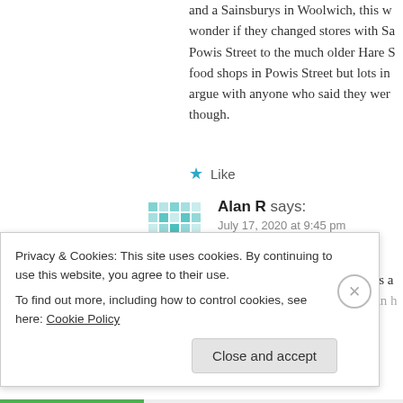and a Sainsburys in Woolwich, this w wonder if they changed stores with Sa Powis Street to the much older Hare S food shops in Powis Street but lots in argue with anyone who said they wer though.
Like
Alan R says: July 17, 2020 at 9:45 pm
Sorry, I've just read your other posts a Graige is or should be far better than h
Privacy & Cookies: This site uses cookies. By continuing to use this website, you agree to their use.
To find out more, including how to control cookies, see here: Cookie Policy
Close and accept